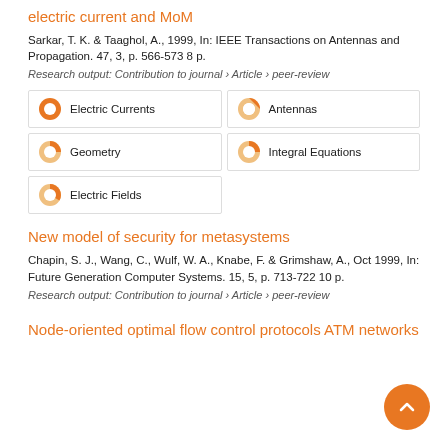electric current and MoM
Sarkar, T. K. & Taaghol, A., 1999, In: IEEE Transactions on Antennas and Propagation. 47, 3, p. 566-573 8 p.
Research output: Contribution to journal › Article › peer-review
[Figure (infographic): Keyword badges with donut-style icons: Electric Currents (100%), Antennas (67%), Geometry (56%), Integral Equations (56%), Electric Fields (50%)]
New model of security for metasystems
Chapin, S. J., Wang, C., Wulf, W. A., Knabe, F. & Grimshaw, A., Oct 1999, In: Future Generation Computer Systems. 15, 5, p. 713-722 10 p.
Research output: Contribution to journal › Article › peer-review
Node-oriented optimal flow control protocols ATM networks